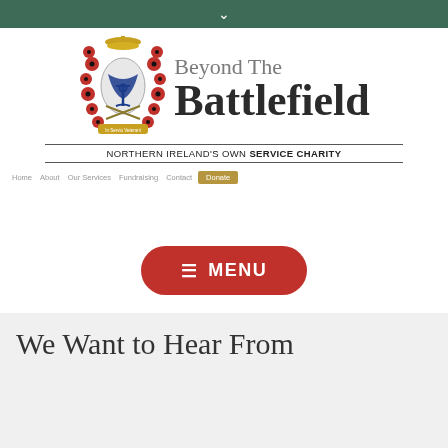▾
[Figure (logo): Beyond The Battlefield charity crest logo with military emblems, poppies, crown, and anchor surrounded by red poppies]
NORTHERN IRELAND'S OWN SERVICE CHARITY
Home  About  Our Services  Fundraising  Contact  Donate
☰ MENU
We Want to Hear From